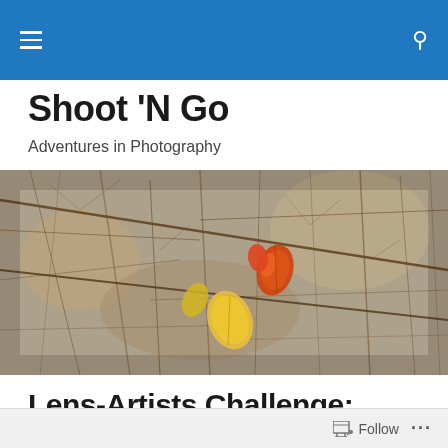Shoot 'N Go — navigation header bar with hamburger menu and search icon
Shoot 'N Go
Adventures in Photography
[Figure (photo): Close-up photograph of bare tree branches with a few yellow and red-orange autumn leaves hanging among thin twigs against a blurred blue-grey background]
Lens-Artists Challenge: Trees
The Trees of Los Angeles
Follow   ...